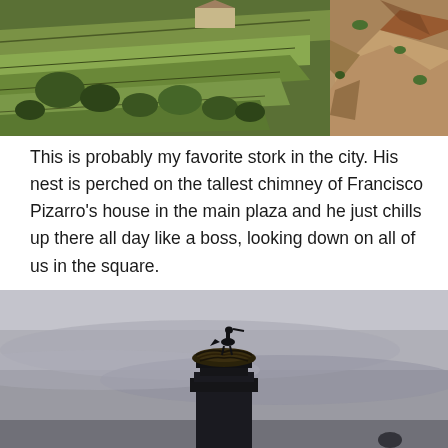[Figure (photo): Aerial/elevated view of green terraced farmland and fields with stone walls, and rocky cliff face on the right side]
This is probably my favorite stork in the city. His nest is perched on the tallest chimney of Francisco Pizarro's house in the main plaza and he just chills up there all day like a boss, looking down on all of us in the square.
[Figure (photo): Silhouette of a stork perched on its nest atop a tall chimney structure, against a grey overcast sky at dusk]